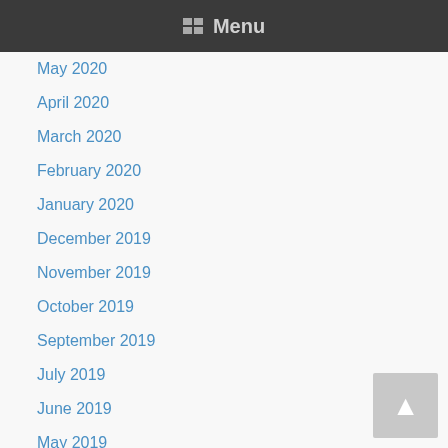Menu
May 2020
April 2020
March 2020
February 2020
January 2020
December 2019
November 2019
October 2019
September 2019
July 2019
June 2019
May 2019
April 2019
March 2019
February 2019